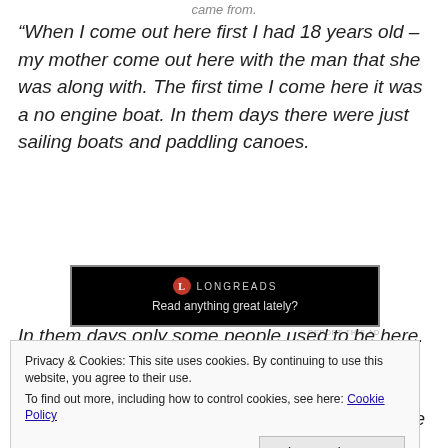came from.
“When I come out here first I had 18 years old – my mother come out here with the man that she was along with. The first time I come here it was a no engine boat. In them days there were just sailing boats and paddling canoes.
[Figure (other): Longreads advertisement banner with black background, red circle logo with 'L', text 'LONGREADS' and 'Read anything great lately?']
In them days only some people used to be here. Up on
Privacy & Cookies: This site uses cookies. By continuing to use this website, you agree to their use.
To find out more, including how to control cookies, see here: Cookie Policy
down was Augustin Gomez. And you never find the